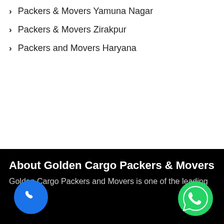Packers & Movers Yamuna Nagar
Packers & Movers Zirakpur
Packers and Movers Haryana
About Golden Cargo Packers & Movers
Golden Cargo Packers and Movers is one of the leading